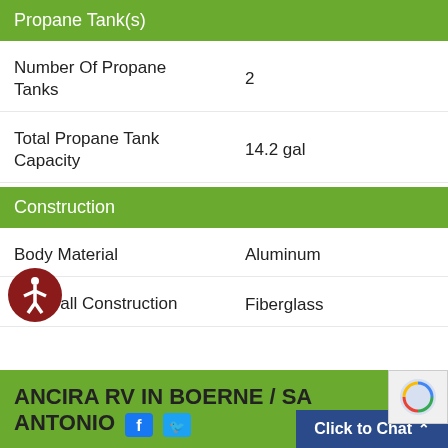Propane Tank(s)
| Property | Value |
| --- | --- |
| Number Of Propane Tanks | 2 |
| Total Propane Tank Capacity | 14.2 gal |
Construction
| Property | Value |
| --- | --- |
| Body Material | Aluminum |
| Sidewall Construction | Fiberglass |
ANCIRA RV IN BOERNE / SAN ANTONIO